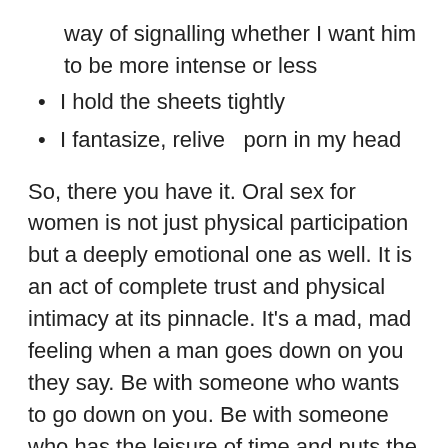way of signalling whether I want him to be more intense or less
I hold the sheets tightly
I fantasize, relive  porn in my head
So, there you have it. Oral sex for women is not just physical participation but a deeply emotional one as well. It is an act of complete trust and physical intimacy at its pinnacle. It's a mad, mad feeling when a man goes down on you they say. Be with someone who wants to go down on you. Be with someone who has the leisure of time and puts the effort to understand your desires and need. Here are the reasons